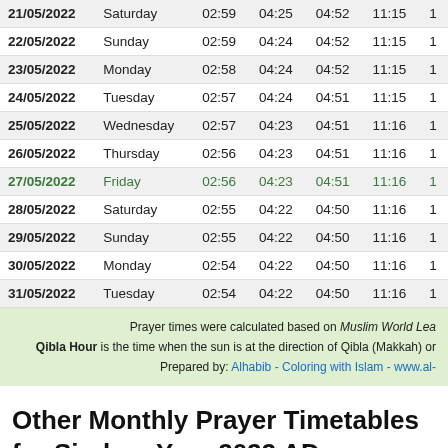| Date | Day | Col3 | Col4 | Col5 | Col6 | Col7 |
| --- | --- | --- | --- | --- | --- | --- |
| 21/05/2022 | Saturday | 02:59 | 04:25 | 04:52 | 11:15 | 1 |
| 22/05/2022 | Sunday | 02:59 | 04:24 | 04:52 | 11:15 | 1 |
| 23/05/2022 | Monday | 02:58 | 04:24 | 04:52 | 11:15 | 1 |
| 24/05/2022 | Tuesday | 02:57 | 04:24 | 04:51 | 11:15 | 1 |
| 25/05/2022 | Wednesday | 02:57 | 04:23 | 04:51 | 11:16 | 1 |
| 26/05/2022 | Thursday | 02:56 | 04:23 | 04:51 | 11:16 | 1 |
| 27/05/2022 | Friday | 02:56 | 04:23 | 04:51 | 11:16 | 1 |
| 28/05/2022 | Saturday | 02:55 | 04:22 | 04:50 | 11:16 | 1 |
| 29/05/2022 | Sunday | 02:55 | 04:22 | 04:50 | 11:16 | 1 |
| 30/05/2022 | Monday | 02:54 | 04:22 | 04:50 | 11:16 | 1 |
| 31/05/2022 | Tuesday | 02:54 | 04:22 | 04:50 | 11:16 | 1 |
Prayer times were calculated based on Muslim World Lea... Qibla Hour is the time when the sun is at the direction of Qibla (Makkah) or... Prepared by: Alhabib - Coloring with Islam - www.al-...
Other Monthly Prayer Timetables for Siraha - Year 2022 AD